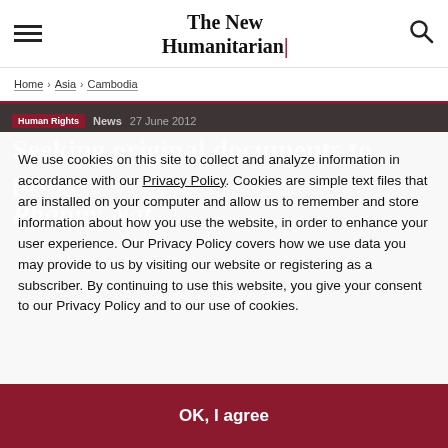The New Humanitarian
Home > Asia > Cambodia
Human Rights   News   27 June 2012
Seeking original documents to prove Phanny Nat
We use cookies on this site to collect and analyze information in accordance with our Privacy Policy. Cookies are simple text files that are installed on your computer and allow us to remember and store information about how you use the website, in order to enhance your user experience. Our Privacy Policy covers how we use data you may provide to us by visiting our website or registering as a subscriber. By continuing to use this website, you give your consent to our Privacy Policy and to our use of cookies.
OK, I agree